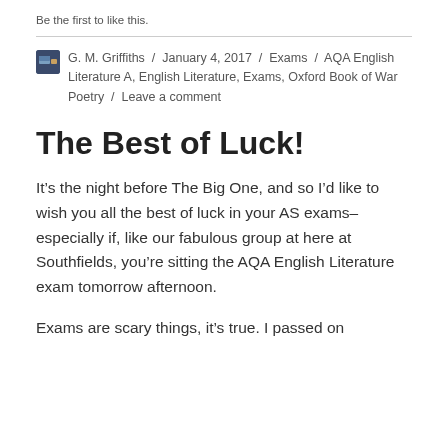Be the first to like this.
G. M. Griffiths / January 4, 2017 / Exams / AQA English Literature A, English Literature, Exams, Oxford Book of War Poetry / Leave a comment
The Best of Luck!
It’s the night before The Big One, and so I’d like to wish you all the best of luck in your AS exams– especially if, like our fabulous group at here at Southfields, you’re sitting the AQA English Literature exam tomorrow afternoon.
Exams are scary things, it’s true. I passed on